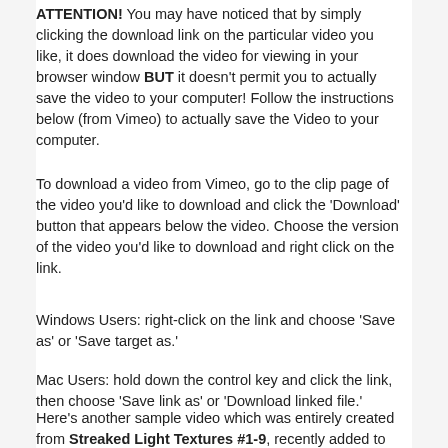ATTENTION!  You may have noticed that by simply clicking the download link on the particular video you like, it does download the video for viewing in your browser window BUT it doesn't permit you to actually save the video to your computer!  Follow the instructions below (from Vimeo) to actually save the Video to your computer.
To download a video from Vimeo, go to the clip page of the video you'd like to download and click the 'Download' button that appears below the video. Choose the version of the video you'd like to download and right click on the link.
Windows Users:  right-click on the link and choose 'Save as' or 'Save target as.'
Mac Users:  hold down the control key and click the link, then choose 'Save link as' or 'Download linked file.'
Here’s another sample video which was entirely created from Streaked Light Textures #1-9, recently added to the collection: